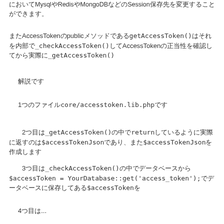においてMysqlやRedisやMongoDBなどのSession保存先を変更することができます。
またAccessTokenのpublicメソッドであるgetAccessToken()はそれを内部で_checkAccessToken()してAccessTokenの正当性を確認してから実際に_getAccessToken()
解説です
1つのファイルcore/accesstoken.lib.phpです
2つ目は_getAccessToken()の中でreturnしているように実際に返すのは$accessTokenJsonであり、また$accessTokenJsonを作成します
3つ目は_checkAccessToken()の中でデータベースから$accessToken = YourDatabase::get('access_token');でデータベースに保存してある$accessTokenを
4つ目は...